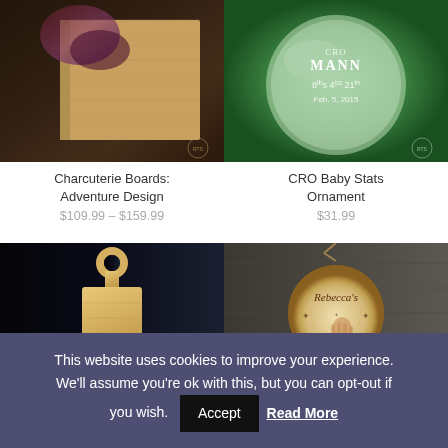[Figure (photo): Photo of a charcuterie/cutting board with dark wood grain and decorative resin pattern, adventure design]
Charcuterie Boards: Adventure Design
$109.99 – $159.99
[Figure (photo): Photo of a clear glass crystal ornament engraved with name Mann and baby stats 8lbs 4oz 21in Feb. 5, 2015]
CRO Baby Stats Ornament
$31.99
[Figure (photo): Photo of a small wooden paddle-shaped cutting board with handle, monogram engraved, on dark background]
[Figure (photo): Photo of a rustic wood slice ornament engraved with Rebecca's First and a handprint, hanging by twine]
This website uses cookies to improve your experience. We'll assume you're ok with this, but you can opt-out if you wish.
Accept
Read More